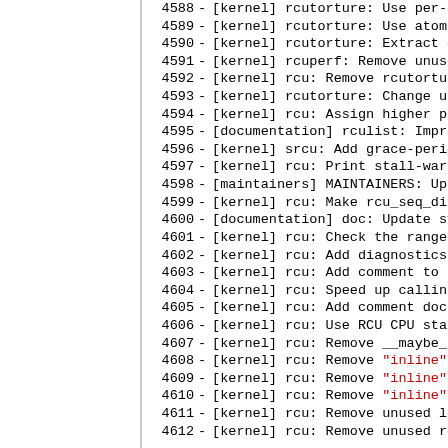4588 - [kernel] rcutorture: Use per-cpu func...
4589 - [kernel] rcutorture: Use atomic incre...
4590 - [kernel] rcutorture: Extract common c...
4591 - [kernel] rcuperf: Remove unused tortu...
4592 - [kernel] rcu: Remove rcutorture test ...
4593 - [kernel] rcutorture: Change units of ...
4594 - [kernel] rcu: Assign higher prio to R...
4595 - [documentation] rculist: Improve docu...
4596 - [kernel] srcu: Add grace-period number...
4597 - [kernel] rcu: Print stall-warning NMI...
4598 - [maintainers] MAINTAINERS: Update RCU,...
4599 - [kernel] rcu: Make rcu_seq_diff() more...
4600 - [documentation] doc: Update synchroniz...
4601 - [kernel] rcu: Check the range of jiff...
4602 - [kernel] rcu: Add diagnostics for rcut...
4603 - [kernel] rcu: Add comment to the last...
4604 - [kernel] rcu: Speed up calling of RCU...
4605 - [kernel] rcu: Add comment documenting...
4606 - [kernel] rcu: Use RCU CPU stall timeo...
4607 - [kernel] rcu: Remove __maybe_unused fr...
4608 - [kernel] rcu: Remove "inline" from rcu...
4609 - [kernel] rcu: Remove "inline" from rcu...
4610 - [kernel] rcu: Remove "inline" from par...
4611 - [kernel] rcu: Remove unused local var...
4612 - [kernel] rcu: Remove unused rcu_kick_...